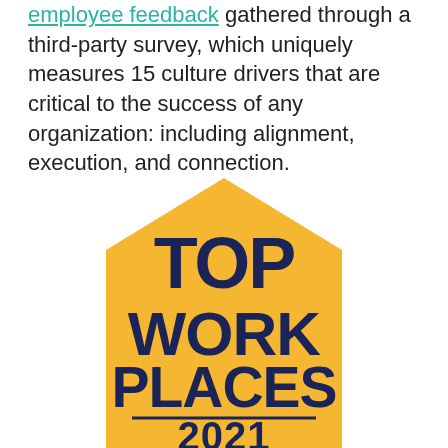employee feedback gathered through a third-party survey, which uniquely measures 15 culture drivers that are critical to the success of any organization: including alignment, execution, and connection.
[Figure (logo): Top Workplaces 2021 badge — a gold/yellow pentagon-house shape with dark navy blue text reading TOP WORK PLACES 2021, with a horizontal line separating PLACES from 2021.]